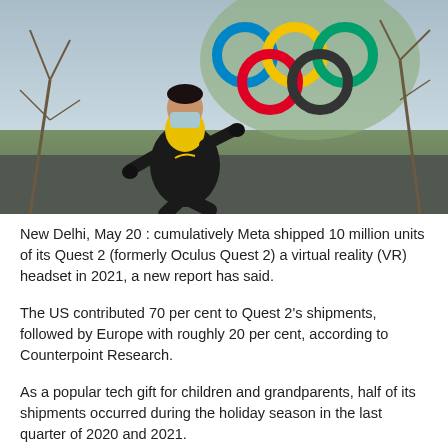[Figure (photo): A person wearing a face mask and yellow-and-black Nike jacket jogging outdoors, with colorful Olympic rings sculpture in the background and bare trees around.]
New Delhi, May 20 : cumulatively Meta shipped 10 million units of its Quest 2 (formerly Oculus Quest 2) a virtual reality (VR) headset in 2021, a new report has said.
The US contributed 70 per cent to Quest 2's shipments, followed by Europe with roughly 20 per cent, according to Counterpoint Research.
As a popular tech gift for children and grandparents, half of its shipments occurred during the holiday season in the last quarter of 2020 and 2021.